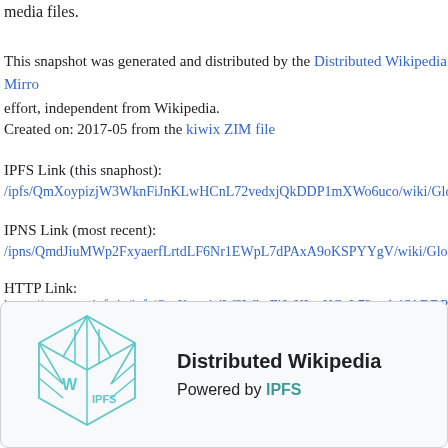media files.
This snapshot was generated and distributed by the Distributed Wikipedia Mirror effort, independent from Wikipedia.
Created on: 2017-05 from the kiwix ZIM file
IPFS Link (this snaphost):
/ipfs/QmXoypizjW3WknFiJnKLwHCnL72vedxjQkDDP1mXWo6uco/wiki/Glo
IPNS Link (most recent):
/ipns/QmdJiuMWp2FxyaerfLrtdLF6Nr1EWpL7dPAxA9oKSPYYgV/wiki/Glob
HTTP Link:
https://gateway.ipfs.io/ipfs/QmXoypizjW3WknFiJnKLwHCnL72vedxjQkDDP1
Download IPFS Here
[Figure (logo): Distributed Wikipedia powered by IPFS logo — a teal wireframe cube with W and IPFS labels inside, next to text reading 'Distributed Wikipedia' and 'Powered by IPFS']